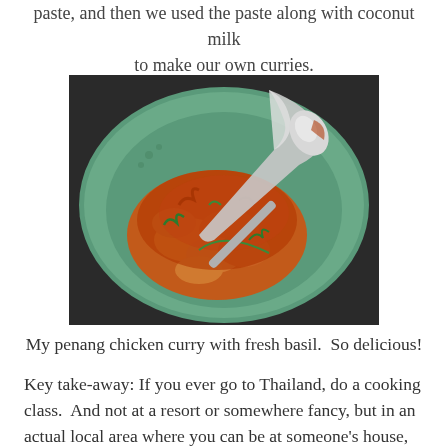paste, and then we used the paste along with coconut milk to make our own curries.
[Figure (photo): A green plate with penang chicken curry topped with red sauce and fresh basil, with a spoon resting on the plate.]
My penang chicken curry with fresh basil.  So delicious!
Key take-away: If you ever go to Thailand, do a cooking class.  And not at a resort or somewhere fancy, but in an actual local area where you can be at someone's house, learning about the stories and culture behind one of the